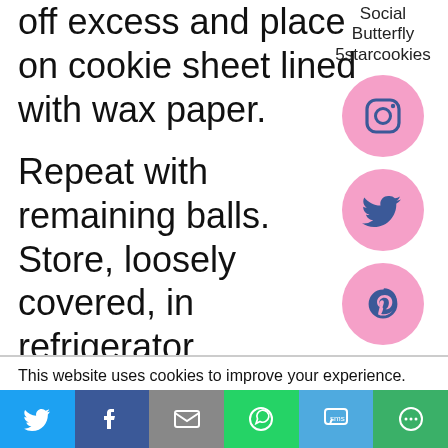off excess and place on cookie sheet lined with wax paper.
Repeat with remaining balls. Store, loosely covered, in refrigerator.
ENJOY! And always...always
[Figure (logo): Social Butterfly 5starcookies text label with Instagram circle icon (pink), Twitter circle icon (pink), Pinterest circle icon (pink)]
This website uses cookies to improve your experience. We'll assume you're ok with this, but you can opt-out if
[Figure (infographic): Share bar with Twitter (blue), Facebook (dark blue), Email (gray), WhatsApp (green), SMS (light blue), More (green) buttons]